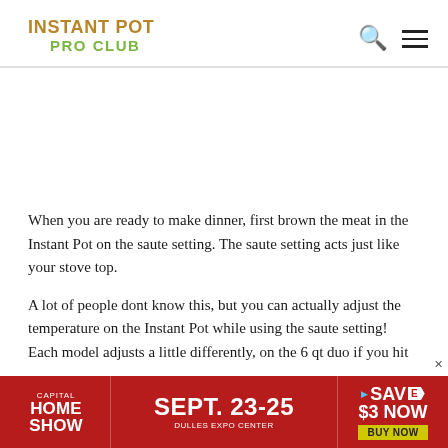INSTANT POT PRO CLUB
When you are ready to make dinner, first brown the meat in the Instant Pot on the saute setting. The saute setting acts just like your stove top.
A lot of people dont know this, but you can actually adjust the temperature on the Instant Pot while using the saute setting! Each model adjusts a little differently, on the 6 qt duo if you hit
[Figure (other): Advertisement banner: Capital Home Show, Sept. 23-25, Dulles Expo Center, Save $3 Now, Buy Now button]